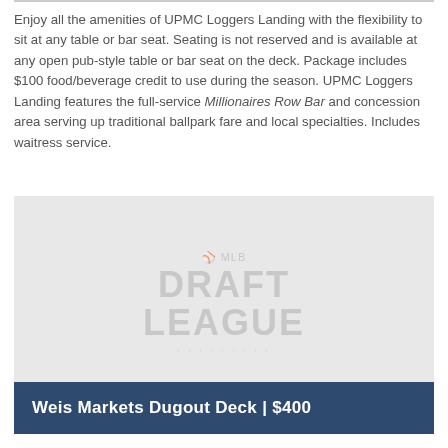Enjoy all the amenities of UPMC Loggers Landing with the flexibility to sit at any table or bar seat. Seating is not reserved and is available at any open pub-style table or bar seat on the deck. Package includes $100 food/beverage credit to use during the season. UPMC Loggers Landing features the full-service Millionaires Row Bar and concession area serving up traditional ballpark fare and local specialties. Includes waitress service.
[Figure (other): Light gray placeholder image with MLB Draft League watermark/logo in the center]
Weis Markets Dugout Deck | $400